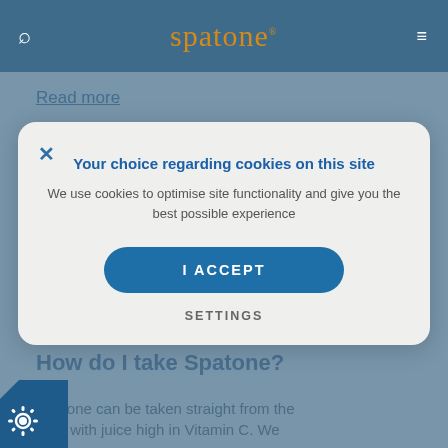spatone
Read more
Your choice regarding cookies on this site
We use cookies to optimise site functionality and give you the best possible experience
I ACCEPT
SETTINGS
How do I take Spatone?
Spatone can be taken straight from the ... or with juice high in Vitamin C. We